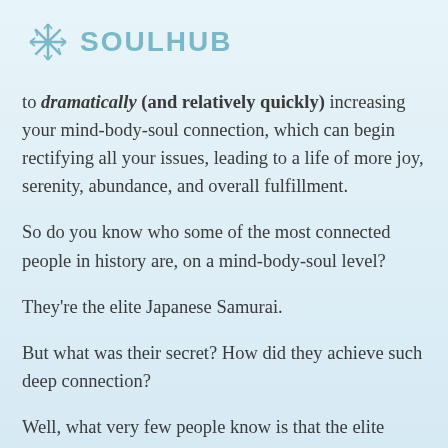SOULHUB
to dramatically (and relatively quickly) increasing your mind-body-soul connection, which can begin rectifying all your issues, leading to a life of more joy, serenity, abundance, and overall fulfillment.
So do you know who some of the most connected people in history are, on a mind-body-soul level?
They're the elite Japanese Samurai.
But what was their secret? How did they achieve such deep connection?
Well, what very few people know is that the elite Samurai were able to continually be in what's called, spherical awareness.